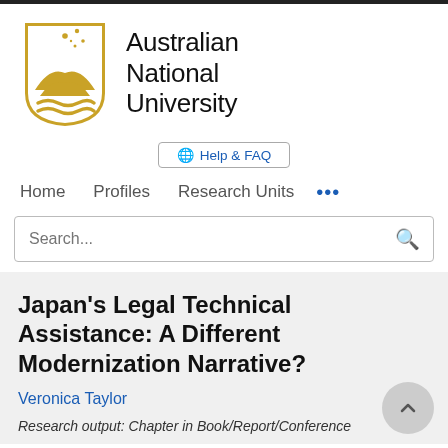[Figure (logo): Australian National University logo: gold shield with stars and mountain/wave motifs, next to text 'Australian National University']
Help & FAQ
Home   Profiles   Research Units   ...
Search...
Japan's Legal Technical Assistance: A Different Modernization Narrative?
Veronica Taylor
Research output: Chapter in Book/Report/Conference